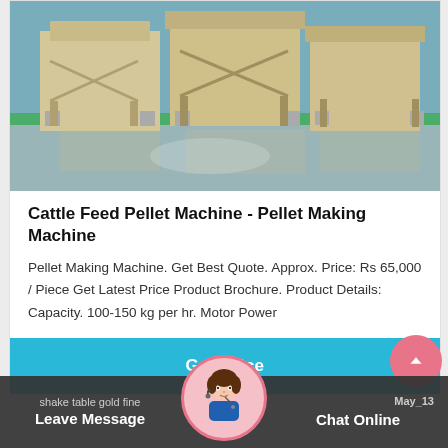[Figure (photo): Industrial cattle feed pellet machines in a factory setting, beige/cream colored large machines on a green and grey floor]
Cattle Feed Pellet Machine - Pellet Making Machine
Pellet Making Machine. Get Best Quote. Approx. Price: Rs 65,000 / Piece Get Latest Price Product Brochure. Product Details: Capacity. 100-150 kg per hr. Motor Power
Get Price
shake table gold fine   Leave Message   Chat Online   May_13